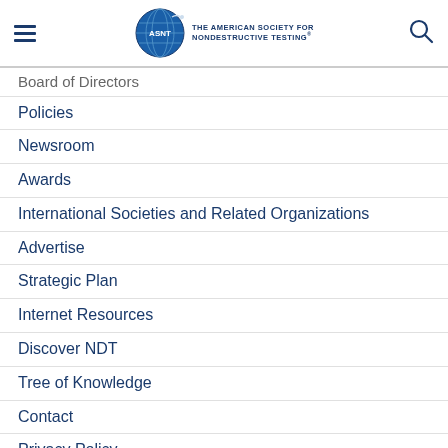ASNT — THE AMERICAN SOCIETY FOR NONDESTRUCTIVE TESTING
Board of Directors
Policies
Newsroom
Awards
International Societies and Related Organizations
Advertise
Strategic Plan
Internet Resources
Discover NDT
Tree of Knowledge
Contact
Privacy Policy
Terms of Use
Standards